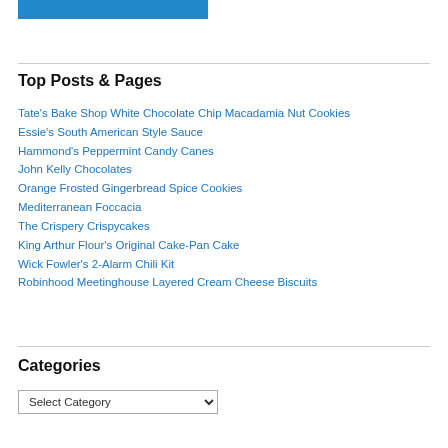[Figure (other): Blue horizontal bar graphic at top left]
Top Posts & Pages
Tate's Bake Shop White Chocolate Chip Macadamia Nut Cookies
Essie's South American Style Sauce
Hammond's Peppermint Candy Canes
John Kelly Chocolates
Orange Frosted Gingerbread Spice Cookies
Mediterranean Foccacia
The Crispery Crispycakes
King Arthur Flour's Original Cake-Pan Cake
Wick Fowler's 2-Alarm Chili Kit
Robinhood Meetinghouse Layered Cream Cheese Biscuits
Categories
Select Category